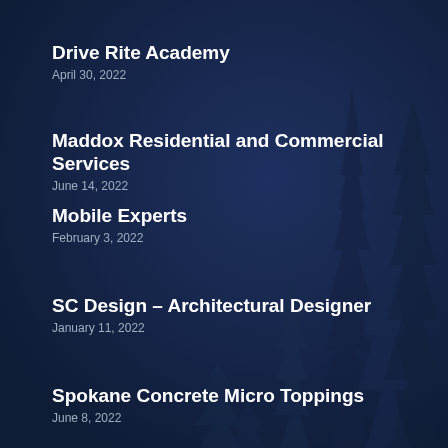Drive Rite Academy
April 30, 2022
Maddox Residential and Commercial Services
June 14, 2022
Mobile Experts
February 3, 2022
SC Design – Architectural Designer
January 11, 2022
Spokane Concrete Micro Toppings
June 8, 2022